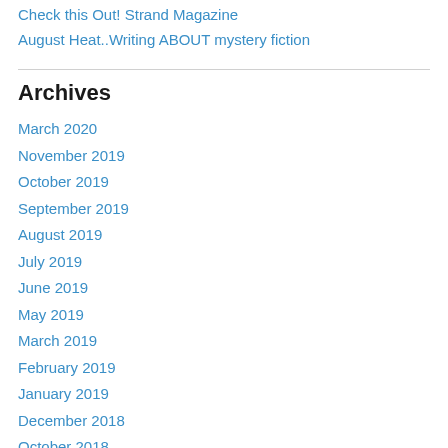Check this Out! Strand Magazine
August Heat..Writing ABOUT mystery fiction
Archives
March 2020
November 2019
October 2019
September 2019
August 2019
July 2019
June 2019
May 2019
March 2019
February 2019
January 2019
December 2018
October 2018
September 2018